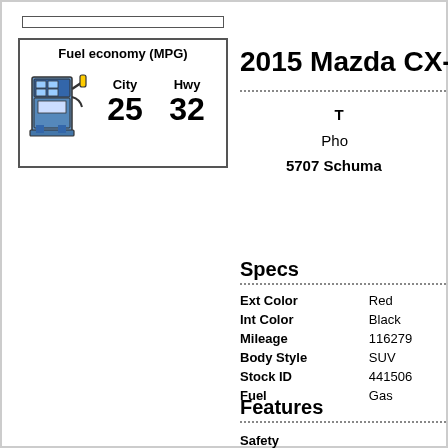[Figure (infographic): Fuel economy MPG box showing a gas pump illustration with City 25 and Hwy 32 MPG values]
2015 Mazda CX-5
To
Pho
5707 Schuma
Specs
| Spec | Value |
| --- | --- |
| Ext Color | Red |
| Int Color | Black |
| Mileage | 116279 |
| Body Style | SUV |
| Stock ID | 441506 |
| Fuel | Gas |
Features
Safety
Driver Air Bag Passenger Air Bag Side Air B... Lamps Vehicle Anti-Theft System Integrated... Control